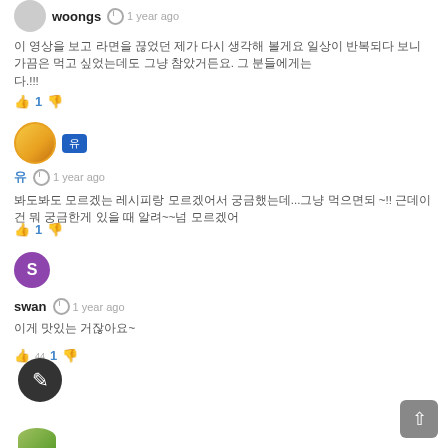woongs · 1 year ago
이 영상을 보고 라면을 끊었던 제가 다시 생각해 볼게요 일상이 반복되다 보니 가끔은 먹고 싶었는데도 그냥 참았거든요. 그 분들에게는 다.!!!
👍 1 👎
유 · 1 year ago
봐도봐도 모르겠는 레시피랑 모르겠어서 궁금했는데...그냥 먹으면되 ~!! 근데이건 뭐 궁금한게 있을 때 알려~~넘 모르겠어
👍 1 👎
swan · 1 year ago
이게 맛있는 거잖아요~
👍 44 1 👎